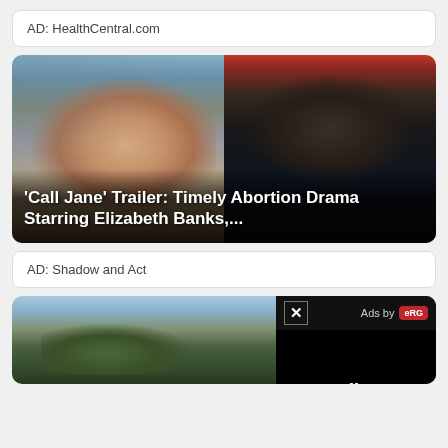AD: HealthCentral.com
[Figure (photo): Two-panel image: left shows a blonde woman looking to the side, right shows a person with braided hair in dark surroundings. Title overlay reads: 'Call Jane' Trailer: Timely Abortion Drama Starring Elizabeth Banks,...]
'Call Jane' Trailer: Timely Abortion Drama Starring Elizabeth Banks,...
AD: Shadow and Act
[Figure (photo): Bottom article image showing a green-tinted face, likely Hulk character, with sky background. A video player overlay in bottom right shows 'Ads by ERG' branding with a close button and pause control.]